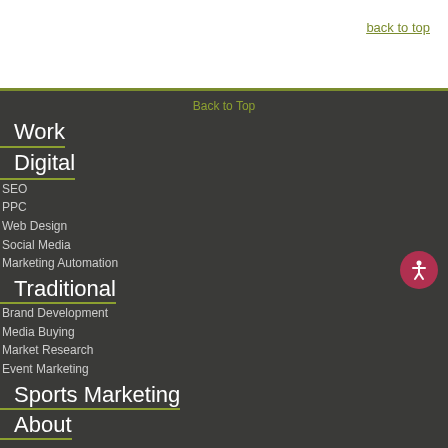back to top
Back to Top
Work
Digital
SEO
PPC
Web Design
Social Media
Marketing Automation
Traditional
Brand Development
Media Buying
Market Research
Event Marketing
Sports Marketing
About